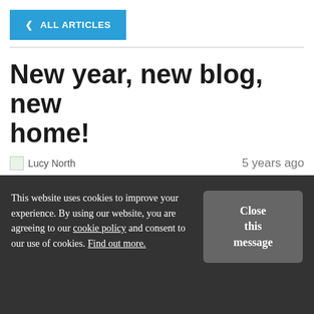< ALL ARTICLES
New year, new blog, new home!
Lucy North   5 years ago
Lucy North
Lucy is Content Producer at ABRSM looking after the blog, our online magazine Librette, and a range of other written materials
This website uses cookies to improve your experience. By using our website, you are agreeing to our cookie policy and consent to our use of cookies. Find out more.